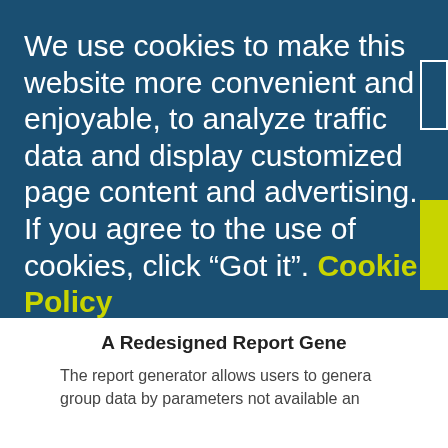We use cookies to make this website more convenient and enjoyable, to analyze traffic data and display customized page content and advertising. If you agree to the use of cookies, click “Got it”. Cookie Policy
A Redesigned Report Gene
The report generator allows users to genera group data by parameters not available an